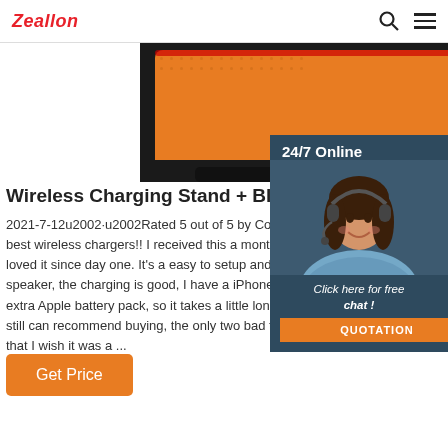Zeallon
[Figure (photo): Top portion of an orange and black Bluetooth speaker / wireless charging stand product photo]
[Figure (photo): 24/7 Online chat widget with a woman wearing a headset, dark blue background, 'Click here for free chat!' text, and an orange QUOTATION button]
Wireless Charging Stand + Bluetooth Speake
2021-7-12u2002·u2002Rated 5 out of 5 by Cory37 best wireless chargers!! I received this a month a, loved it since day one. It's a easy to setup and pai speaker, the charging is good, I have a iPhone 11p extra Apple battery pack, so it takes a little longe still can recommend buying, the only two bad thi that I wish it was a ...
Get Price